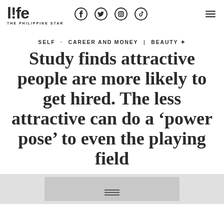life - THE PHILIPPINE STAR | Facebook | Twitter | Instagram | TikTok | Menu
SELF · CAREER AND MONEY | BEAUTY ✦
Study finds attractive people are more likely to get hired. The less attractive can do a 'power pose' to even the playing field
[Figure (photo): Gray placeholder area at the bottom of the page showing the beginning of an article image]